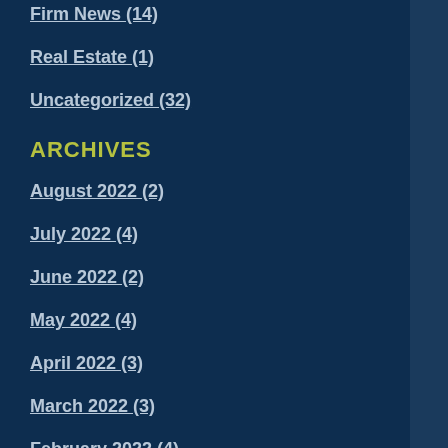Firm News (14)
Real Estate (1)
Uncategorized (32)
ARCHIVES
August 2022 (2)
July 2022 (4)
June 2022 (2)
May 2022 (4)
April 2022 (3)
March 2022 (3)
February 2022 (4)
January 2022 (4)
December 2021 (2)
November 2021 (4)